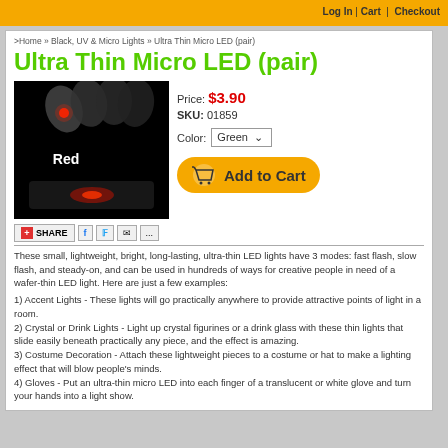Log In | Cart | Checkout
>Home » Black, UV & Micro Lights » Ultra Thin Micro LED (pair)
Ultra Thin Micro LED (pair)
[Figure (photo): Product photo showing ultra thin micro LED lights on black background with red glowing LED visible, labeled 'Red']
Price: $3.90
SKU: 01859
Color: Green
[Figure (other): Add to Cart button with shopping cart icon]
[Figure (other): Share bar with social media icons: Facebook, Twitter, Email]
These small, lightweight, bright, long-lasting, ultra-thin LED lights have 3 modes: fast flash, slow flash, and steady-on, and can be used in hundreds of ways for creative people in need of a wafer-thin LED light. Here are just a few examples:
1) Accent Lights - These lights will go practically anywhere to provide attractive points of light in a room.
2) Crystal or Drink Lights - Light up crystal figurines or a drink glass with these thin lights that slide easily beneath practically any piece, and the effect is amazing.
3) Costume Decoration - Attach these lightweight pieces to a costume or hat to make a lighting effect that will blow people's minds.
4) Gloves - Put an ultra-thin micro LED into each finger of a translucent or white glove and turn your hands into a light show.